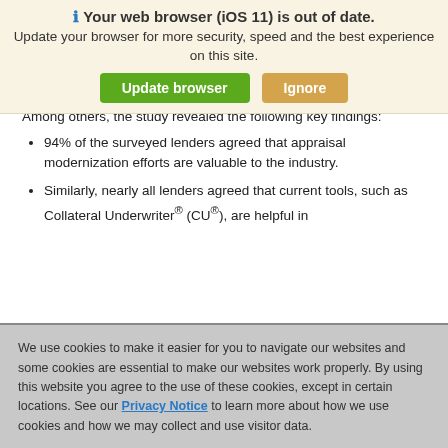modernization, including benefits, implementation challenges, and possible applications. Fannie Mae's Economic & Strategic Research (ESR) Group surveyed senior mortgage executives in February 2019 as part of a quarterly Mortgage Lender Sentiment Survey®.
[Figure (screenshot): Browser upgrade warning banner: 'Your web browser (iOS 11) is out of date. Update your browser for more security, speed and the best experience on this site.' with green 'Update browser' and orange 'Ignore' buttons.]
Among others, the study revealed the following key findings:
94% of the surveyed lenders agreed that appraisal modernization efforts are valuable to the industry.
Similarly, nearly all lenders agreed that current tools, such as Collateral Underwriter® (CU®), are helpful in
[Figure (screenshot): Cookie consent banner: 'We use cookies to make it easier for you to navigate our websites and some cookies are essential to make our websites work properly. By using this website you agree to the use of these cookies, except in certain locations. See our Privacy Notice to learn more about how we use cookies and how we may collect and use visitor data.']